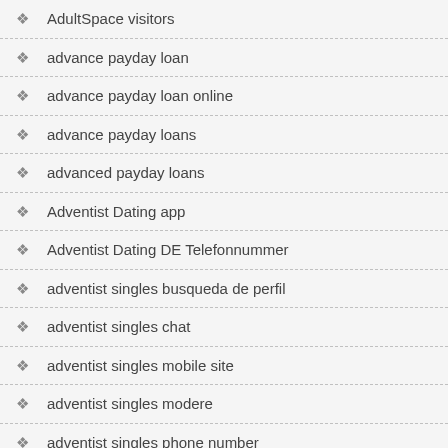AdultSpace visitors
advance payday loan
advance payday loan online
advance payday loans
advanced payday loans
Adventist Dating app
Adventist Dating DE Telefonnummer
adventist singles busqueda de perfil
adventist singles chat
adventist singles mobile site
adventist singles modere
adventist singles phone number